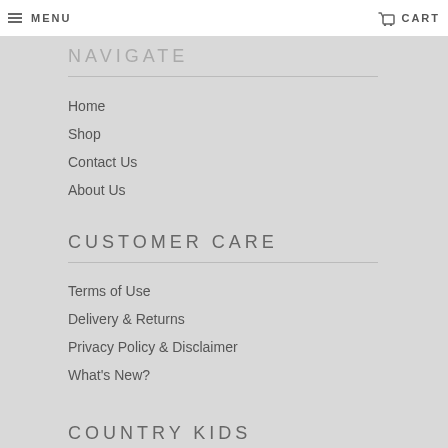MENU  CART
NAVIGATE
Home
Shop
Contact Us
About Us
CUSTOMER CARE
Terms of Use
Delivery & Returns
Privacy Policy & Disclaimer
What's New?
COUNTRY KIDS